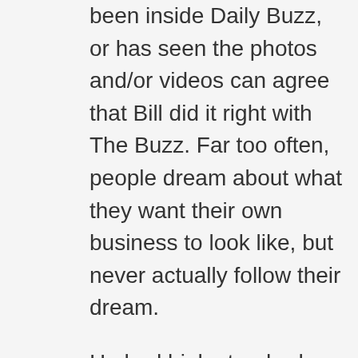been inside Daily Buzz, or has seen the photos and/or videos can agree that Bill did it right with The Buzz. Far too often, people dream about what they want their own business to look like, but never actually follow their dream.
He had high standards, a taste for quality, and he put his money where his mouth was. I enjoyed my conversations with him as he was an intelligent and vivacious gentleman.